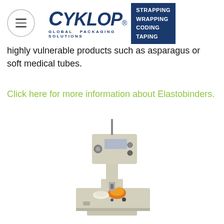CYKLOP® GLOBAL PACKAGING SOLUTIONS | STRAPPING WRAPPING CODING TAPING
highly vulnerable products such as asparagus or soft medical tubes.
Click here for more information about Elastobinders.
[Figure (photo): Photograph of a Cyklop elastobinder machine — a beige/cream-colored tabletop industrial banding machine with a vertical arch, mounted on a pedestal base, with an orange rubber band spool visible.]